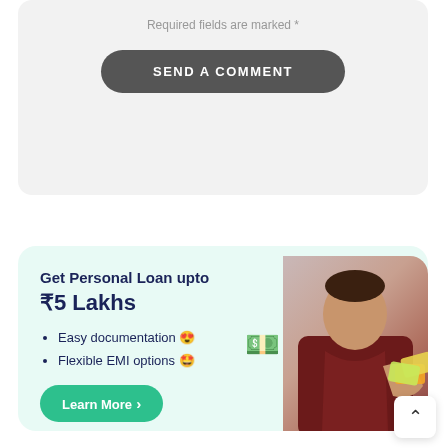Required fields are marked *
SEND A COMMENT
[Figure (infographic): Personal loan advertisement card with light mint background. Shows text 'Get Personal Loan upto ₹5 Lakhs' with bullet points 'Easy documentation 😍' and 'Flexible EMI options 🤩', a 'Learn More ›' green button, and a man in dark red shirt holding money notes on the right side.]
Learn More >